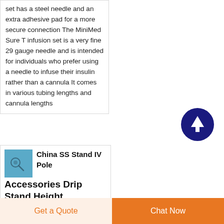set has a steel needle and an extra adhesive pad for a more secure connection The MiniMed Sure T infusion set is a very fine 29 gauge needle and is intended for individuals who prefer using a needle to infuse their insulin rather than a cannula It comes in various tubing lengths and cannula lengths
[Figure (other): Dark blue circular scroll-to-top button with white upward arrow icon]
[Figure (photo): Small thumbnail image with blue background showing medical equipment]
China SS Stand IV Pole Accessories Drip Stand Height
Get a Quote  Chat Now